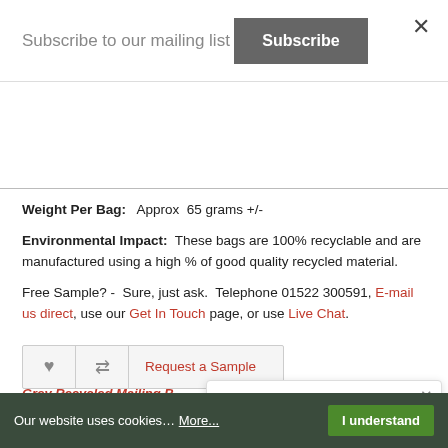Subscribe to our mailing list
Subscribe
Weight Per Bag:   Approx  65 grams +/-
Environmental Impact:  These bags are 100% recyclable and are manufactured using a high % of good quality recycled material.
Free Sample? -  Sure, just ask.  Telephone 01522 300591, E-mail us direct, use our Get In Touch page, or use Live Chat.
Request a Sample
Grey Recycled Mailing B 100
Product Code: PPP-14
Someone is browsing Orange Mailing Bags just
Our website uses cookies… More...   I understand